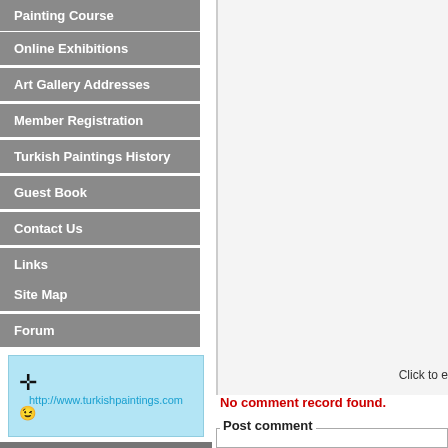Painting Course
Online Exhibitions
Art Gallery Addresses
Member Registration
Turkish Paintings History
Guest Book
Contact Us
Links
Site Map
Forum
[Figure (logo): Logo with crosshair icon and URL http://www.turkishpaintings.com on light blue background with smile icon]
Online members
Online members :
Click to e
No comment record found.
Post comment